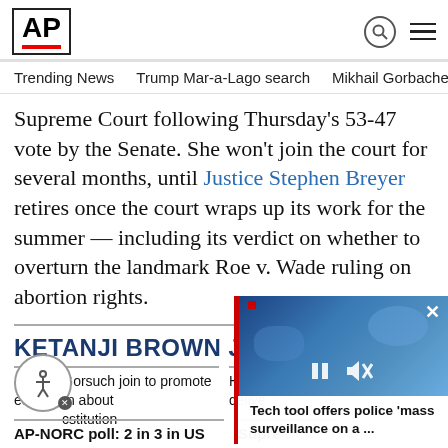AP
Trending News   Trump Mar-a-Lago search   Mikhail Gorbachev d
Supreme Court following Thursday's 53-47 vote by the Senate. She won't join the court for several months, until Justice Stephen Breyer retires once the court wraps up its work for the summer — including its verdict on whether to overturn the landmark Roe v. Wade ruling on abortion rights.
KETANJI BROWN JACKSO
Breyer, Gorsuch join to promote education about constitution
How S deliver
[Figure (screenshot): Video popup with blue background showing video controls and a red close button]
Tech tool offers police 'mass surveillance on a ...
AP-NORC poll: 2 in 3 in US
Supre